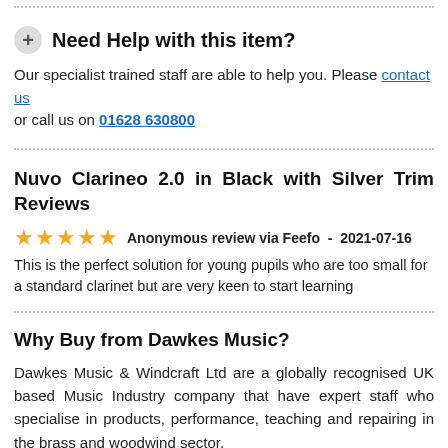Need Help with this item?
Our specialist trained staff are able to help you. Please contact us or call us on 01628 630800
Nuvo Clarineo 2.0 in Black with Silver Trim Reviews
★★★★★  Anonymous review via Feefo  -  2021-07-16
This is the perfect solution for young pupils who are too small for a standard clarinet but are very keen to start learning
Why Buy from Dawkes Music?
Dawkes Music & Windcraft Ltd are a globally recognised UK based Music Industry company that have expert staff who specialise in products, performance, teaching and repairing in the brass and woodwind sector.